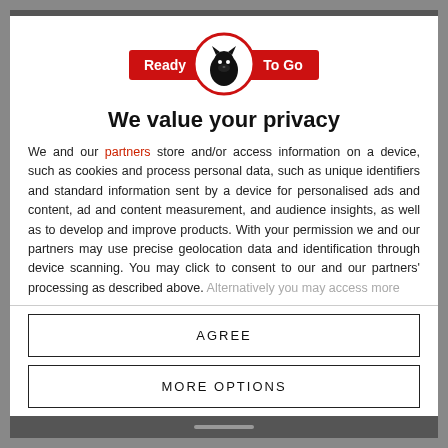[Figure (logo): Ready To Go brand logo with a black panther head inside a red circle, flanked by red rectangular badges with 'Ready' and 'To Go' text in white]
We value your privacy
We and our partners store and/or access information on a device, such as cookies and process personal data, such as unique identifiers and standard information sent by a device for personalised ads and content, ad and content measurement, and audience insights, as well as to develop and improve products. With your permission we and our partners may use precise geolocation data and identification through device scanning. You may click to consent to our and our partners' processing as described above. Alternatively you may access more
AGREE
MORE OPTIONS